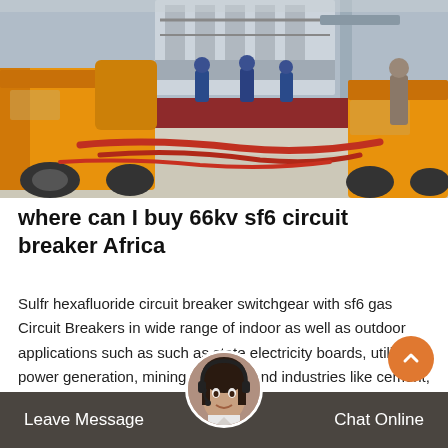[Figure (photo): Outdoor industrial electrical substation scene in winter/snow. Workers in blue uniforms visible near large transformer equipment in the center. Yellow utility trucks on left and right sides. Red hoses/cables on snowy ground. Dark maroon vehicle or barrier visible in mid-ground.]
where can I buy 66kv sf6 circuit breaker Africa
Sulfr hexafluoride circuit breaker switchgear with sf6 gas Circuit Breakers in wide range of indoor as well as outdoor applications such as such as state electricity boards, utilities, power generation, mining, defence and industries like cement, steel, paper, textile, chemical and other
Leave Message   Chat Online